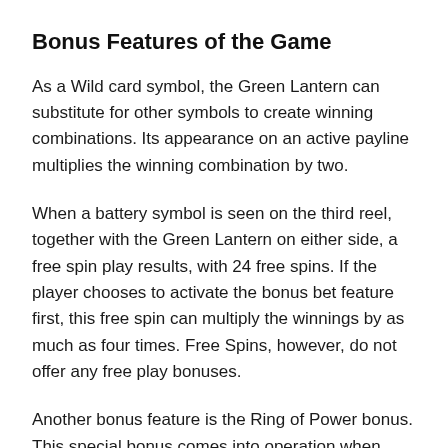Bonus Features of the Game
As a Wild card symbol, the Green Lantern can substitute for other symbols to create winning combinations. Its appearance on an active payline multiplies the winning combination by two.
When a battery symbol is seen on the third reel, together with the Green Lantern on either side, a free spin play results, with 24 free spins. If the player chooses to activate the bonus bet feature first, this free spin can multiply the winnings by as much as four times. Free Spins, however, do not offer any free play bonuses.
Another bonus feature is the Ring of Power bonus. This special bonus comes into operation when three ring